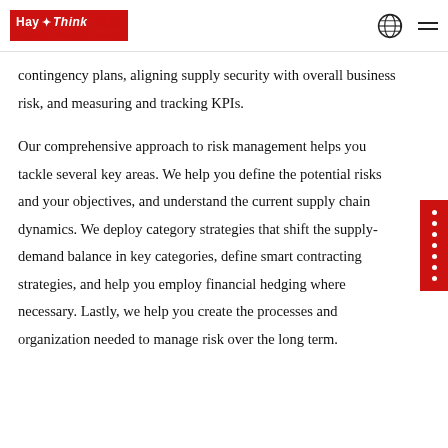Hay Think 瀚思 | POWERS YOUR SUCCESS
contingency plans, aligning supply security with overall business risk, and measuring and tracking KPIs.
Our comprehensive approach to risk management helps you tackle several key areas. We help you define the potential risks and your objectives, and understand the current supply chain dynamics. We deploy category strategies that shift the supply-demand balance in key categories, define smart contracting strategies, and help you employ financial hedging where necessary. Lastly, we help you create the processes and organization needed to manage risk over the long term.